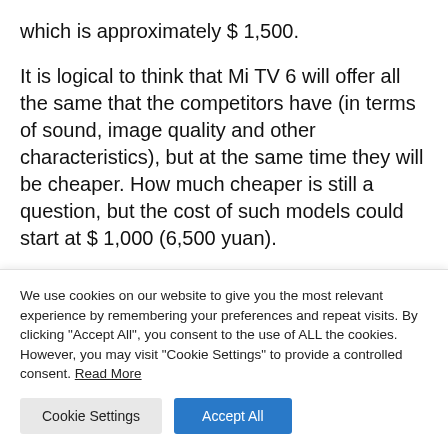which is approximately $ 1,500.
It is logical to think that Mi TV 6 will offer all the same that the competitors have (in terms of sound, image quality and other characteristics), but at the same time they will be cheaper. How much cheaper is still a question, but the cost of such models could start at $ 1,000 (6,500 yuan).
Another teaser that accompanied this statement by
We use cookies on our website to give you the most relevant experience by remembering your preferences and repeat visits. By clicking "Accept All", you consent to the use of ALL the cookies. However, you may visit "Cookie Settings" to provide a controlled consent. Read More
Cookie Settings
Accept All